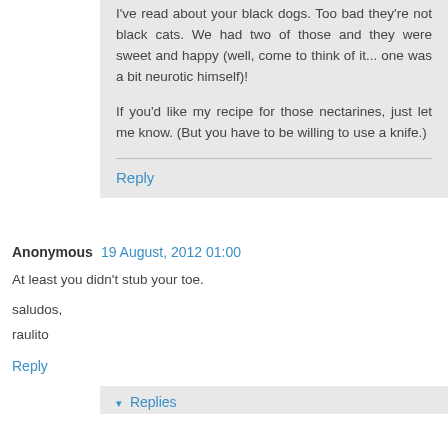I've read about your black dogs. Too bad they're not black cats. We had two of those and they were sweet and happy (well, come to think of it... one was a bit neurotic himself)!

If you'd like my recipe for those nectarines, just let me know. (But you have to be willing to use a knife.)
Reply
Anonymous  19 August, 2012 01:00
At least you didn't stub your toe.
saludos,
raulito
Reply
▾ Replies